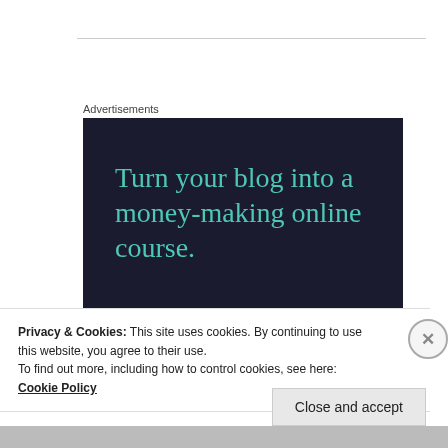Advertisements
[Figure (illustration): Dark navy advertisement banner for an online course platform. Shows large teal headline text 'Turn your blog into a money-making online course.' with a teal 'Learn More' pill-shaped button and a Sensai logo in the bottom right corner.]
Privacy & Cookies: This site uses cookies. By continuing to use this website, you agree to their use.
To find out more, including how to control cookies, see here: Cookie Policy
Close and accept